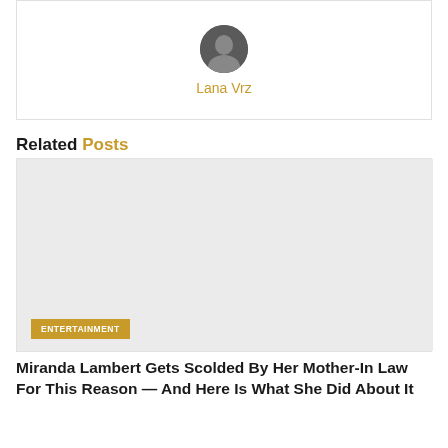[Figure (photo): Author avatar photo of Lana Vrz, circular headshot]
Lana Vrz
Related Posts
[Figure (photo): Related post thumbnail image with ENTERTAINMENT category badge]
Miranda Lambert Gets Scolded By Her Mother-In Law For This Reason — And Here Is What She Did About It